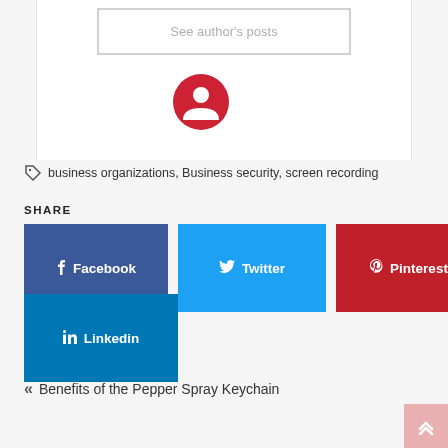See author's posts
[Figure (illustration): Red circle avatar/user icon with a person silhouette in white]
business organizations, Business security, screen recording
SHARE
Facebook
Twitter
Pinterest
Linkedin
« Benefits of the Pepper Spray Keychain